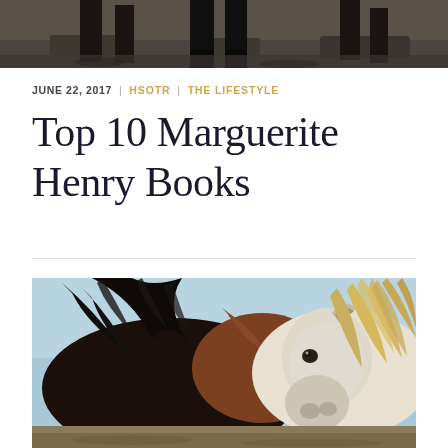[Figure (photo): Top portion of a photo showing dark horse legs and rocky ground, cropped at the top of the page]
JUNE 22, 2017  |  HSOTR  |  THE LIFESTYLE
Top 10 Marguerite Henry Books
[Figure (photo): Close-up photo of horses: a dark brown/black horse with flowing mane on the left and a white horse with blonde mane on the right, facing each other, with blue sky in the background]